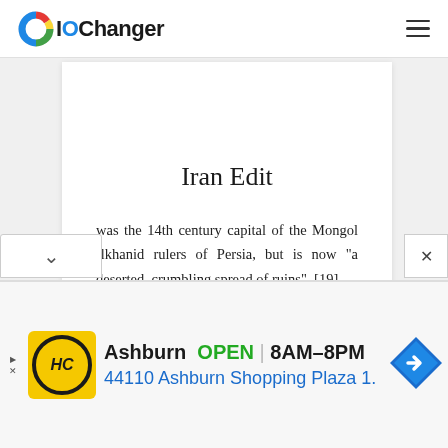IOChanger
Iran Edit
was the 14th century capital of the Mongol Ilkhanid rulers of Persia, but is now "a deserted, crumbling spread of ruins". [19]
Ashburn OPEN 8AM–8PM 44110 Ashburn Shopping Plaza 1.